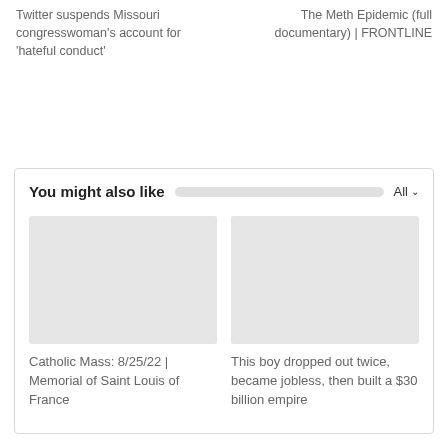Twitter suspends Missouri congresswoman's account for 'hateful conduct'
The Meth Epidemic (full documentary) | FRONTLINE
You might also like
[Figure (other): Thumbnail placeholder for Catholic Mass video]
Catholic Mass: 8/25/22 | Memorial of Saint Louis of France
[Figure (other): Thumbnail placeholder for boy story video]
This boy dropped out twice, became jobless, then built a $30 billion empire